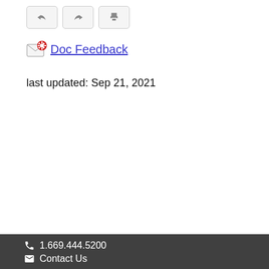[Figure (other): Toolbar with three buttons: reply arrow, forward arrow, and print icon]
Doc Feedback
last updated: Sep 21, 2021
1.669.444.5200
Contact Us